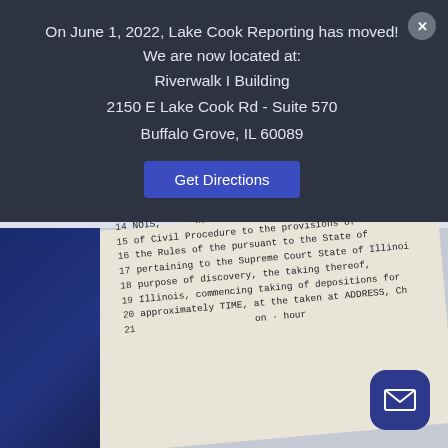On June 1, 2022, Lake Cook Reporting has moved! We are now located at:
Riverwalk I Building
2150 E Lake Cook Rd - Suite 570
Buffalo Grove, IL 60089
Get Directions
[Figure (photo): Photo of a legal deposition transcript document with line numbers 14-21 visible, showing text about Illinois Civil Procedure and Supreme Court rules regarding taking of depositions. A dark blue binder/notebook is visible on the left side with a logo.]